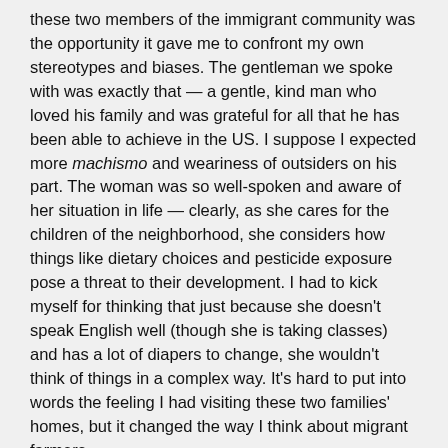these two members of the immigrant community was the opportunity it gave me to confront my own stereotypes and biases. The gentleman we spoke with was exactly that — a gentle, kind man who loved his family and was grateful for all that he has been able to achieve in the US. I suppose I expected more machismo and weariness of outsiders on his part. The woman was so well-spoken and aware of her situation in life — clearly, as she cares for the children of the neighborhood, she considers how things like dietary choices and pesticide exposure pose a threat to their development. I had to kick myself for thinking that just because she doesn't speak English well (though she is taking classes) and has a lot of diapers to change, she wouldn't think of things in a complex way. It's hard to put into words the feeling I had visiting these two families' homes, but it changed the way I think about migrant farmers.